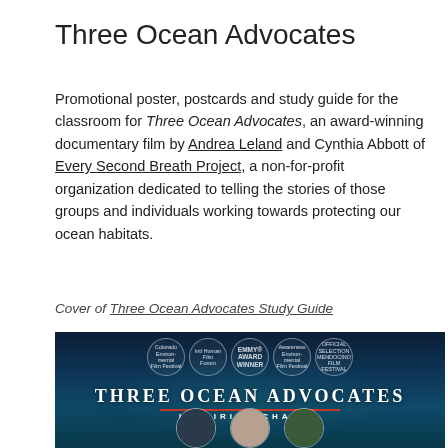Three Ocean Advocates
Promotional poster, postcards and study guide for the classroom for Three Ocean Advocates, an award-winning documentary film by Andrea Leland and Cynthia Abbott of Every Second Breath Project, a non-for-profit organization dedicated to telling the stories of those groups and individuals working towards protecting our ocean habitats.
Cover of Three Ocean Advocates Study Guide
[Figure (photo): Film poster for Three Ocean Advocates showing laurel wreaths for awards including Emmy Award Winner and Mendocino Film Festival, the film title in large serif letters, a red underline, the tagline 'Inspiring Change', and three portrait photographs at the bottom against a dark ocean background.]